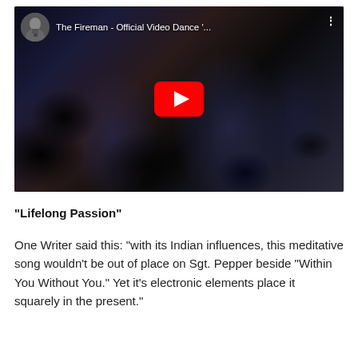[Figure (screenshot): YouTube video thumbnail for 'The Fireman - Official Video Dance '...' showing dark figures dancing with a red YouTube play button overlay. A circular avatar thumbnail and video title appear in the top-left corner.]
“Lifelong Passion”
One Writer said this: “with its Indian influences, this meditative song wouldn’t be out of place on Sgt. Pepper beside “Within You Without You.” Yet it’s electronic elements place it squarely in the present.”